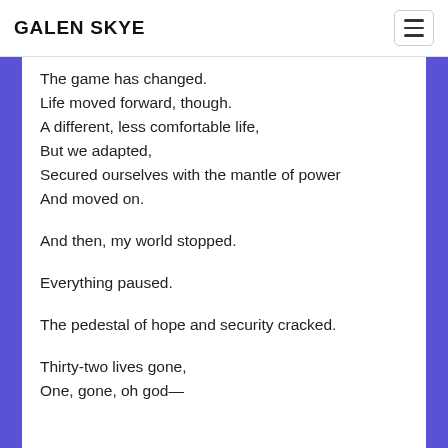GALEN SKYE
The game has changed.
Life moved forward, though.
A different, less comfortable life,
But we adapted,
Secured ourselves with the mantle of power
And moved on.
And then, my world stopped.
Everything paused.
The pedestal of hope and security cracked.
Thirty-two lives gone,
One, gone, oh god—